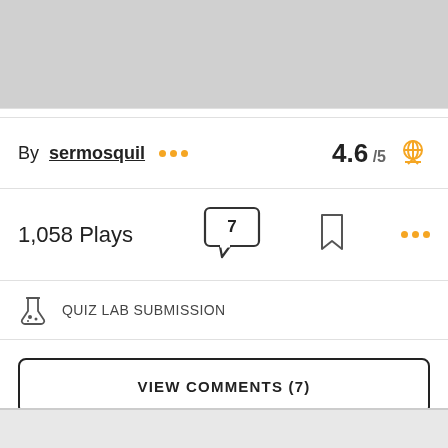[Figure (screenshot): Gray placeholder image area at top]
By sermosquil ••• 4.6 /5
1,058 Plays
7 (comment count)
QUIZ LAB SUBMISSION
VIEW COMMENTS (7)